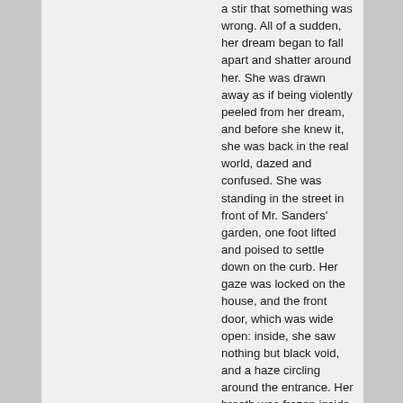a stir that something was wrong. All of a sudden, her dream began to fall apart and shatter around her. She was drawn away as if being violently peeled from her dream, and before she knew it, she was back in the real world, dazed and confused. She was standing in the street in front of Mr. Sanders' garden, one foot lifted and poised to settle down on the curb. Her gaze was locked on the house, and the front door, which was wide open: inside, she saw nothing but black void, and a haze circling around the entrance. Her breath was frozen inside her body. She broke her stare and looked down. In front of her, at the base of the fountain, was the gnome she had seen before—but it was not the same gnome she had seen